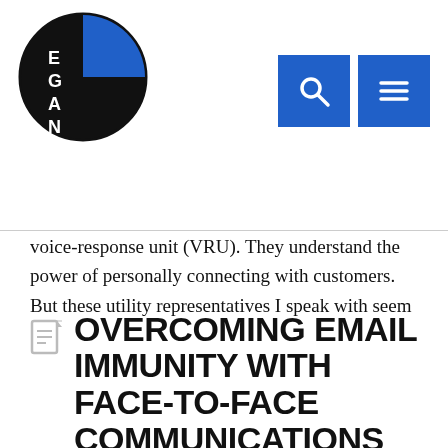[Figure (logo): Egan Energy Communications Inc. logo — circular black and blue design with EGAN text, plus company name]
voice-response unit (VRU). They understand the power of personally connecting with customers. But these utility representatives I speak with seem fixated on the logistical challenges of direct outreach: ...
Read More
OVERCOMING EMAIL IMMUNITY WITH FACE-TO-FACE COMMUNICATIONS